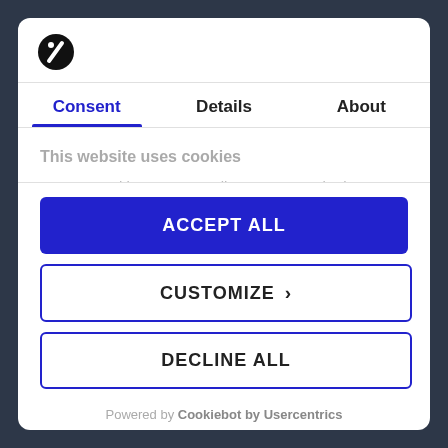[Figure (logo): Cookiebot logo — black circle with a white diagonal slash/pencil icon]
Consent | Details | About
This website uses cookies
We use cookies to personalise content and ads, to
ACCEPT ALL
CUSTOMIZE >
DECLINE ALL
Powered by Cookiebot by Usercentrics